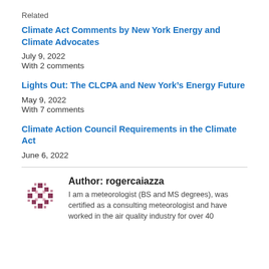Related
Climate Act Comments by New York Energy and Climate Advocates
July 9, 2022
With 2 comments
Lights Out: The CLCPA and New York's Energy Future
May 9, 2022
With 7 comments
Climate Action Council Requirements in the Climate Act
June 6, 2022
Author: rogercaiazza
I am a meteorologist (BS and MS degrees), was certified as a consulting meteorologist and have worked in the air quality industry for over 40